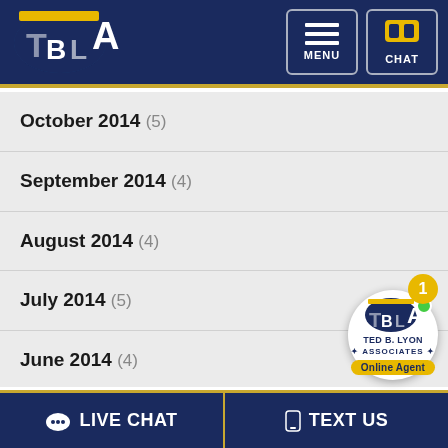[Figure (logo): TBLA law firm logo with dark blue circular background and gold/white letters T, B, L, A]
[Figure (screenshot): MENU and CHAT navigation buttons in header]
October 2014 (5)
September 2014 (4)
August 2014 (4)
July 2014 (5)
June 2014 (4)
May 2014 (4)
April 2014 (4)
[Figure (logo): Ted B. Lyon Associates chat widget with badge showing 1, green dot for Online Agent]
LIVE CHAT   TEXT US